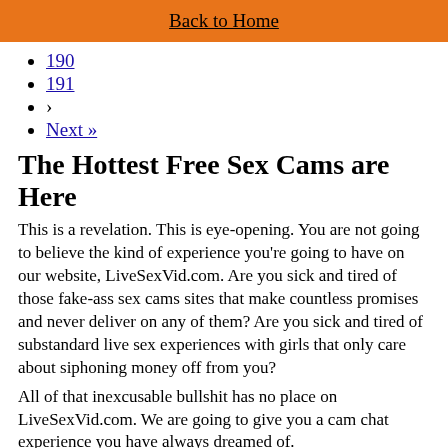Back to Home
190
191
›
Next »
The Hottest Free Sex Cams are Here
This is a revelation. This is eye-opening. You are not going to believe the kind of experience you're going to have on our website, LiveSexVid.com. Are you sick and tired of those fake-ass sex cams sites that make countless promises and never deliver on any of them? Are you sick and tired of substandard live sex experiences with girls that only care about siphoning money off from you?
All of that inexcusable bullshit has no place on LiveSexVid.com. We are going to give you a cam chat experience you have always dreamed of.
The Webcam Girls of Your Dreams
We can vouch for every single cam performer featured on our website. We screen them all to make sure you're getting the best